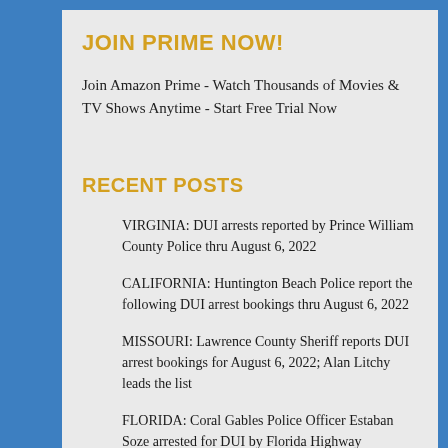JOIN PRIME NOW!
Join Amazon Prime - Watch Thousands of Movies & TV Shows Anytime - Start Free Trial Now
RECENT POSTS
VIRGINIA: DUI arrests reported by Prince William County Police thru August 6, 2022
CALIFORNIA: Huntington Beach Police report the following DUI arrest bookings thru August 6, 2022
MISSOURI: Lawrence County Sheriff reports DUI arrest bookings for August 6, 2022; Alan Litchy leads the list
FLORIDA: Coral Gables Police Officer Estaban Soze arrested for DUI by Florida Highway...